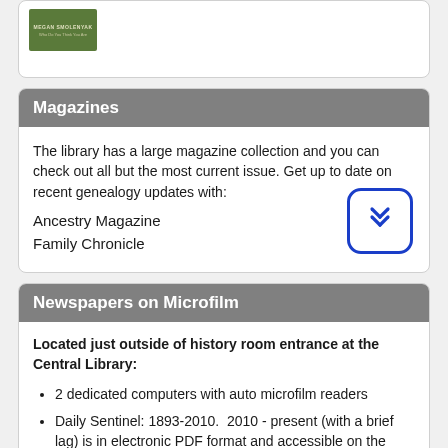[Figure (photo): Partial book cover thumbnail with green background, author name 'Megan Smolenyak' visible]
Magazines
The library has a large magazine collection and you can check out all but the most current issue. Get up to date on recent genealogy updates with:
Ancestry Magazine
Family Chronicle
Newspapers on Microfilm
Located just outside of history room entrance at the Central Library:
2 dedicated computers with auto microfilm readers
Daily Sentinel: 1893-2010.  2010 - present (with a brief lag) is in electronic PDF format and accessible on the microfilm computers.  (Please note we are missing the following reels of film: